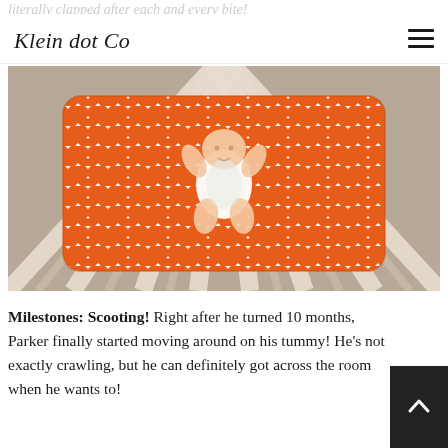literally clapped after each and every bite!
Klein dot Co
[Figure (photo): Aerial view of a baby lying on an orange and white chevron patterned crib sheet inside a wooden crib, viewed from above showing the radiating crib slats.]
Milestones: Scooting! Right after he turned 10 months, Parker finally started moving around on his tummy! He’s not exactly crawling, but he can definitely got across the room when he wants to!